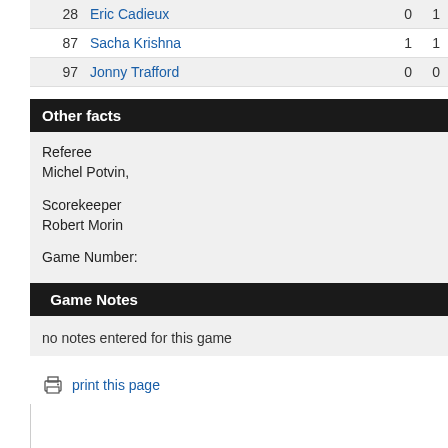| # | Name | Col1 | Col2 |
| --- | --- | --- | --- |
| 28 | Eric Cadieux | 0 | 1 |
| 87 | Sacha Krishna | 1 | 1 |
| 97 | Jonny Trafford | 0 | 0 |
Other facts
Referee
Michel Potvin,

Scorekeeper
Robert Morin

Game Number:
Game Notes
no notes entered for this game
print this page